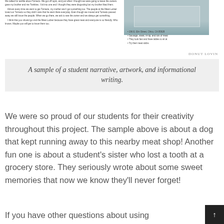[Figure (photo): A photograph of a meat shop storefront, small student writing sample and bullet list about the shop]
DONUT LOVIN
A sample of a student narrative, artwork, and informational writing.
We were so proud of our students for their creativity throughout this project. The sample above is about a dog that kept running away to this nearby meat shop! Another fun one is about a student's sister who lost a tooth at a grocery store. They seriously wrote about some sweet memories that now we know they'll never forget!
If you have other questions about using